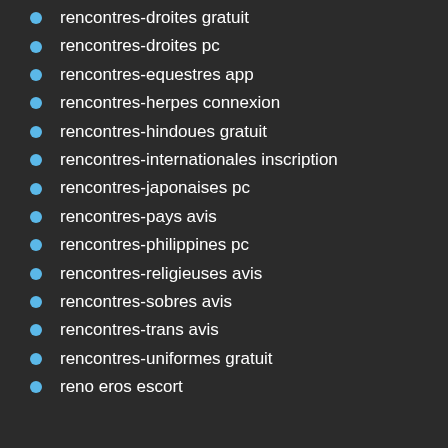rencontres-droites gratuit
rencontres-droites pc
rencontres-equestres app
rencontres-herpes connexion
rencontres-hindoues gratuit
rencontres-internationales inscription
rencontres-japonaises pc
rencontres-pays avis
rencontres-philippines pc
rencontres-religieuses avis
rencontres-sobres avis
rencontres-trans avis
rencontres-uniformes gratuit
reno eros escort